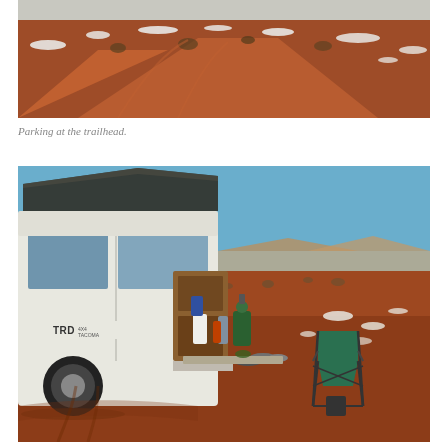[Figure (photo): Aerial/wide view of a desert trailhead with red dirt road, patches of snow on reddish-brown earth, and sparse desert scrub vegetation under an overcast sky.]
Parking at the trailhead.
[Figure (photo): A white Toyota TRD 4x4 truck with camper shell open at the tailgate, showing camping gear and cooking supplies organized in a wooden storage system. A green folding camp chair sits nearby on red desert dirt. Desert scrubland and distant mesas visible under a blue sky with patches of snow on the ground.]